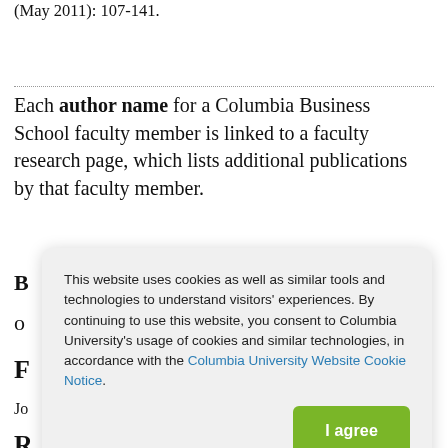Personality and Social Psychology Review 15, no. 2 (May 2011): 107-141.
Each author name for a Columbia Business School faculty member is linked to a faculty research page, which lists additional publications by that faculty member.
B... o...
F...
Jo...
R...
This website uses cookies as well as similar tools and technologies to understand visitors' experiences. By continuing to use this website, you consent to Columbia University's usage of cookies and similar technologies, in accordance with the Columbia University Website Cookie Notice.
I agree